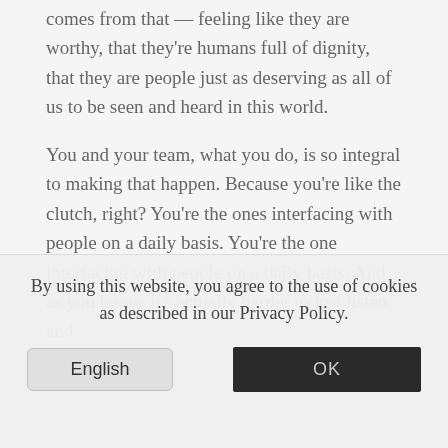comes from that — feeling like they are worthy, that they're humans full of dignity, that they are people just as deserving as all of us to be seen and heard in this world.
You and your team, what you do, is so integral to making that happen. Because you're like the clutch, right? You're the ones interfacing with people on a daily basis. You're the one interfacing with people on a daily basis. And as you know, it's actually harder to just listen and
By using this website, you agree to the use of cookies as described in our Privacy Policy.
English
OK